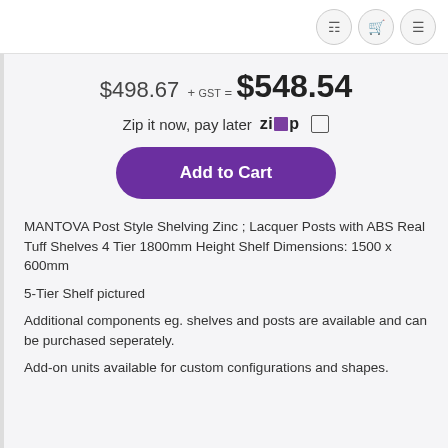Navigation header with account, cart, and menu icons
$498.67 + GST = $548.54
Zip it now, pay later ZIP □
Add to Cart
MANTOVA Post Style Shelving Zinc ; Lacquer Posts with ABS Real Tuff Shelves 4 Tier 1800mm Height Shelf Dimensions: 1500 x 600mm
5-Tier Shelf pictured
Additional components eg. shelves and posts are available and can be purchased seperately.
Add-on units available for custom configurations and shapes.